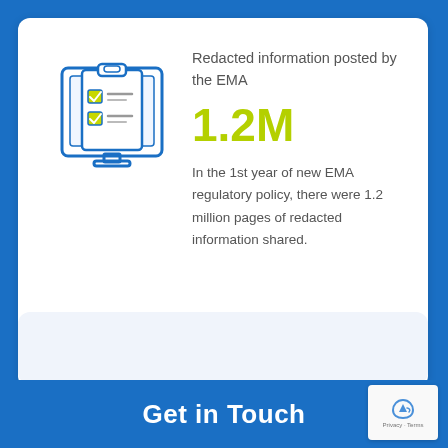[Figure (illustration): Icon of a computer monitor displaying a clipboard with checkboxes and lines, drawn in blue outline style with yellow-green checkbox fills]
Redacted information posted by the EMA
1.2M
In the 1st year of new EMA regulatory policy, there were 1.2 million pages of redacted information shared.
Get in Touch